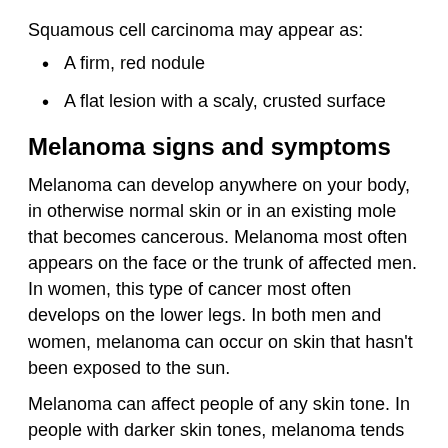Squamous cell carcinoma may appear as:
A firm, red nodule
A flat lesion with a scaly, crusted surface
Melanoma signs and symptoms
Melanoma can develop anywhere on your body, in otherwise normal skin or in an existing mole that becomes cancerous. Melanoma most often appears on the face or the trunk of affected men. In women, this type of cancer most often develops on the lower legs. In both men and women, melanoma can occur on skin that hasn't been exposed to the sun.
Melanoma can affect people of any skin tone. In people with darker skin tones, melanoma tends to occur on the palms or soles, or under the fingernails or toenails.
Melanoma signs include:
A large brownish spot with darker speckles